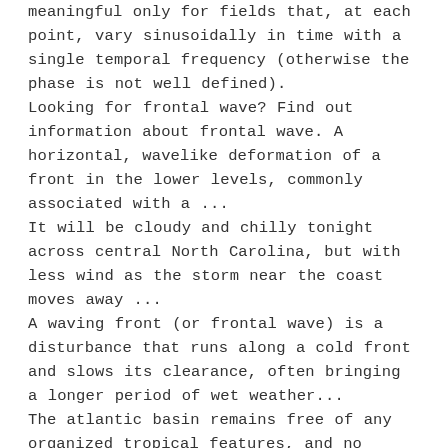meaningful only for fields that, at each point, vary sinusoidally in time with a single temporal frequency (otherwise the phase is not well defined).
Looking for frontal wave? Find out information about frontal wave. A horizontal, wavelike deformation of a front in the lower levels, commonly associated with a ...
It will be cloudy and chilly tonight across central North Carolina, but with less wind as the storm near the coast moves away ...
A waving front (or frontal wave) is a disturbance that runs along a cold front and slows its clearance, often bringing a longer period of wet weather...
The atlantic basin remains free of any organized tropical features, and no tropical development is anticipated through at least Saturday. A non-tropical storm is forecast to develop off the southeast ...
Purchase Human Hair Buy low price, high quality human hair with worldwide shipping on AliExpress.